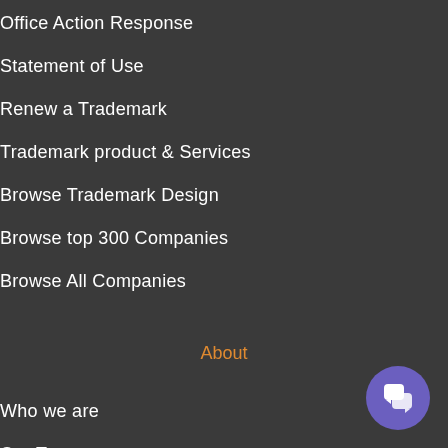Office Action Response
Statement of Use
Renew a Trademark
Trademark product & Services
Browse Trademark Design
Browse top 300 Companies
Browse All Companies
About
Who we are
Our Team
Our Commitment and Privacy